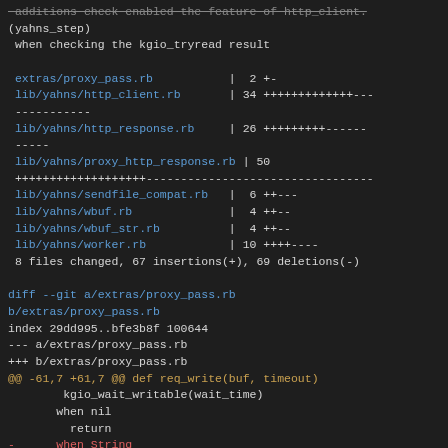code diff output showing git changes including file stat summary and diff for extras/proxy_pass.rb